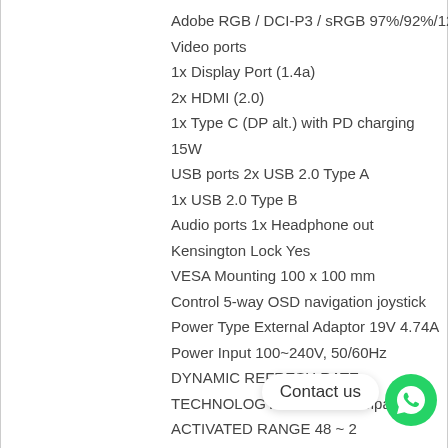Adobe RGB / DCI-P3 / sRGB 97%/92%/126%
Video ports
1x Display Port (1.4a)
2x HDMI (2.0)
1x Type C (DP alt.) with PD charging
15W
USB ports 2x USB 2.0 Type A
1x USB 2.0 Type B
Audio ports 1x Headphone out
Kensington Lock Yes
VESA Mounting 100 x 100 mm
Control 5-way OSD navigation joystick
Power Type External Adaptor 19V 4.74A
Power Input 100~240V, 50/60Hz
DYNAMIC REFRESH RATE
TECHNOLOGY G-SYNC Compatible
ACTIVATED RANGE 48 ~ 2
DCR 100000000:1
HDR Support HDR 400